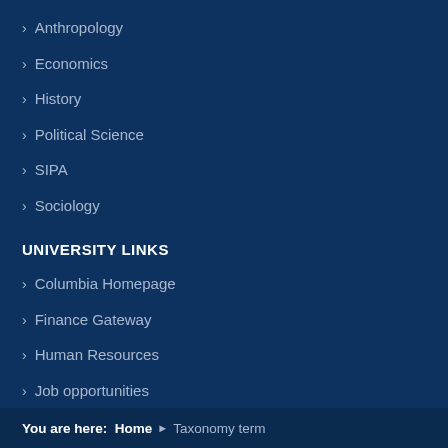Anthropology
Economics
History
Political Science
SIPA
Sociology
UNIVERSITY LINKS
Columbia Homepage
Finance Gateway
Human Resources
Job opportunities
You are here: Home › Taxonomy term